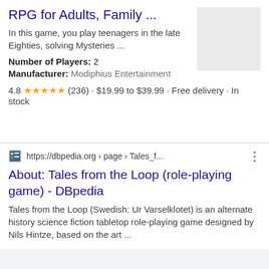RPG for Adults, Family ...
In this game, you play teenagers in the late Eighties, solving Mysteries ...
Number of Players: 2
Manufacturer: Modiphius Entertainment
4.8 ★★★★★ (236) · $19.99 to $39.99 · Free delivery · In stock
[Figure (other): Gray placeholder image thumbnail]
https://dbpedia.org › page › Tales_f...
About: Tales from the Loop (role-playing game) - DBpedia
Tales from the Loop (Swedish: Ur Varselklotet) is an alternate history science fiction tabletop role-playing game designed by Nils Hintze, based on the art ...